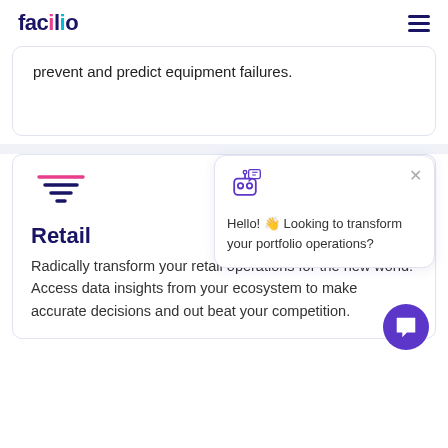facilio
prevent and predict equipment failures.
Retail
Radically transform your retail operations for the new world. Access data insights from your ecosystem to make accurate decisions and out beat your competition.
[Figure (screenshot): Chatbot popup with robot icon, close button, and text: Hello! 👋 Looking to transform your portfolio operations?]